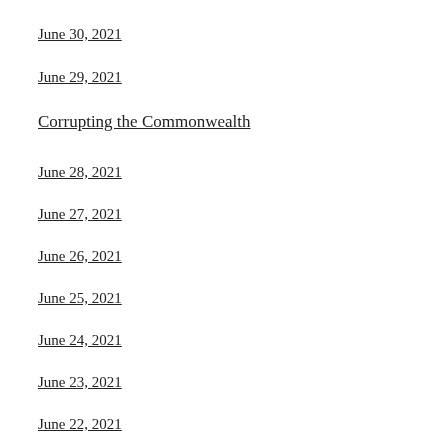June 30, 2021
June 29, 2021
Corrupting the Commonwealth
June 28, 2021
June 27, 2021
June 26, 2021
June 25, 2021
June 24, 2021
June 23, 2021
June 22, 2021